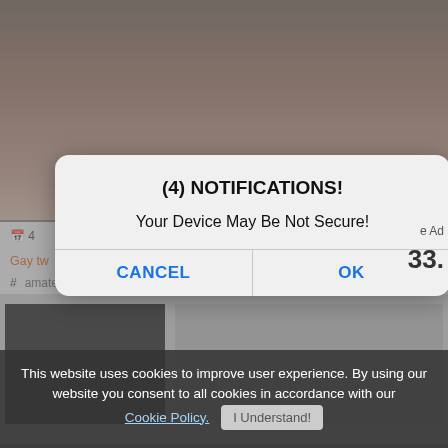[Figure (screenshot): A screenshot of an adult video website with a browser notification dialog overlaid. The background shows a video still image. A modal dialog box is displayed with title '(4) NOTIFICATIONS!' and message 'Your Device May Be Not Secure!' with CANCEL and OK buttons. At the bottom is a cookie consent bar reading 'This website uses cookies to improve user experience. By using our website you consent to all cookies in accordance with our Cookie Policy. I Understand!']